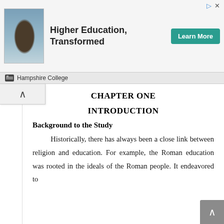[Figure (screenshot): Advertisement banner for Hampshire College showing 'Higher Education, Transformed' with a photo of a student and a teal 'Learn More' button]
CHAPTER ONE
INTRODUCTION
Background to the Study
Historically, there has always been a close link between religion and education. For example, the Roman education was rooted in the ideals of the Roman people. It endeavored to